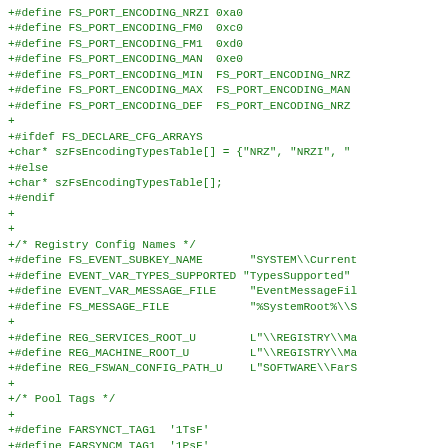+#define FS_PORT_ENCODING_NRZI 0xa0
+#define FS_PORT_ENCODING_FM0  0xc0
+#define FS_PORT_ENCODING_FM1  0xd0
+#define FS_PORT_ENCODING_MAN  0xe0
+#define FS_PORT_ENCODING_MIN  FS_PORT_ENCODING_NRZ
+#define FS_PORT_ENCODING_MAX  FS_PORT_ENCODING_MAN
+#define FS_PORT_ENCODING_DEF  FS_PORT_ENCODING_NRZ
+
+#ifdef FS_DECLARE_CFG_ARRAYS
+char* szFsEncodingTypesTable[] = {"NRZ", "NRZI", "
+#else
+char* szFsEncodingTypesTable[];
+#endif
+
+
+/* Registry Config Names */
+#define FS_EVENT_SUBKEY_NAME       "SYSTEM\\Current
+#define EVENT_VAR_TYPES_SUPPORTED "TypesSupported"
+#define EVENT_VAR_MESSAGE_FILE     "EventMessageFil
+#define FS_MESSAGE_FILE            "%SystemRoot%\\S
+
+#define REG_SERVICES_ROOT_U        L"\\REGISTRY\\Ma
+#define REG_MACHINE_ROOT_U         L"\\REGISTRY\\Ma
+#define REG_FSWAN_CONFIG_PATH_U    L"SOFTWARE\\FarS
+
+/* Pool Tags */
+
+#define FARSYNCT_TAG1  '1TsF'
+#define FARSYNCM_TAG1  '1PsF'
+